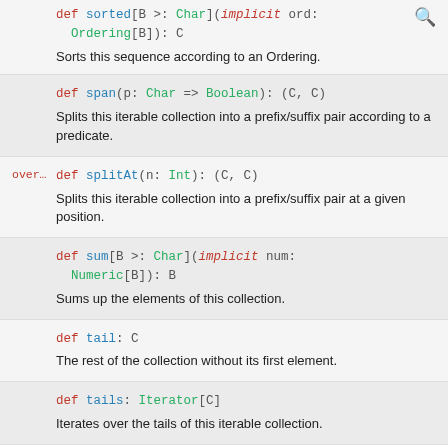def sortedBy >: Char](implicit ord: Ordering[B]): C — Sorts this sequence according to an Ordering.
def span(p: Char => Boolean): (C, C) — Splits this iterable collection into a prefix/suffix pair according to a predicate.
over… def splitAt(n: Int): (C, C) — Splits this iterable collection into a prefix/suffix pair at a given position.
def sum[B >: Char](implicit num: Numeric[B]): B — Sums up the elements of this collection.
def tail: C — The rest of the collection without its first element.
def tails: Iterator[C] — Iterates over the tails of this iterable collection.